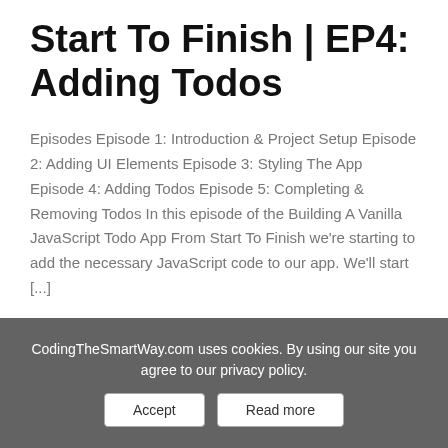Start To Finish | EP4: Adding Todos
Episodes Episode 1: Introduction & Project Setup Episode 2: Adding UI Elements Episode 3: Styling The App Episode 4: Adding Todos Episode 5: Completing & Removing Todos In this episode of the Building A Vanilla JavaScript Todo App From Start To Finish we're starting to add the necessary JavaScript code to our app. We'll start [...]
18th Juli '20
CodingTheSmartWay.com uses cookies. By using our site you agree to our privacy policy.